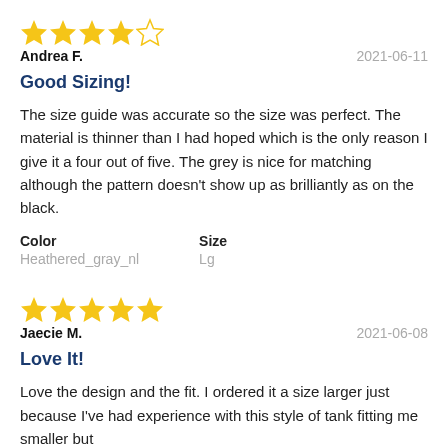[Figure (other): 4-star rating (4 filled stars, 1 empty star)]
Andrea F.    2021-06-11
Good Sizing!
The size guide was accurate so the size was perfect. The material is thinner than I had hoped which is the only reason I give it a four out of five. The grey is nice for matching although the pattern doesn't show up as brilliantly as on the black.
Color
Heathered_gray_nl

Size
Lg
[Figure (other): 5-star rating (5 filled stars)]
Jaecie M.    2021-06-08
Love It!
Love the design and the fit. I ordered it a size larger just because I&#x27;ve had experience with this style of tank fitting me smaller but